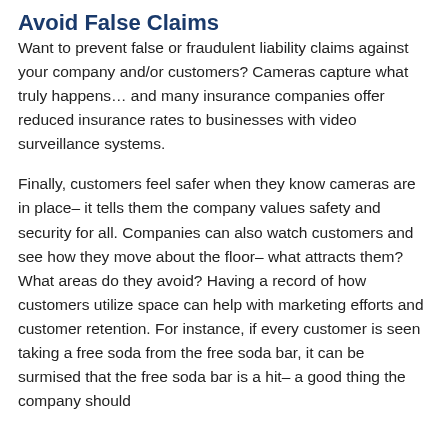Avoid False Claims
Want to prevent false or fraudulent liability claims against your company and/or customers? Cameras capture what truly happens… and many insurance companies offer reduced insurance rates to businesses with video surveillance systems.
Finally, customers feel safer when they know cameras are in place– it tells them the company values safety and security for all. Companies can also watch customers and see how they move about the floor– what attracts them? What areas do they avoid? Having a record of how customers utilize space can help with marketing efforts and customer retention. For instance, if every customer is seen taking a free soda from the free soda bar, it can be surmised that the free soda bar is a hit– a good thing the company should